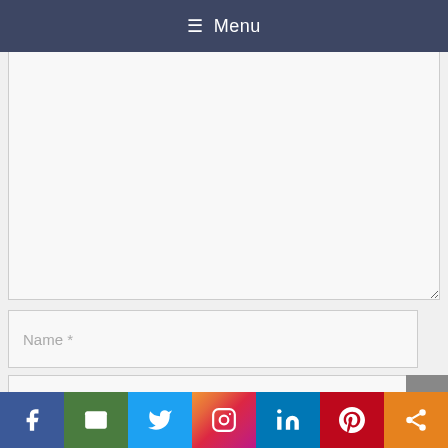≡ Menu
[Figure (screenshot): Comment text area input field (large, empty, light gray background with border)]
[Figure (screenshot): Name * input field (text input, light gray background)]
[Figure (screenshot): Email * input field (text input, light gray background)]
[Figure (screenshot): Social media share bar with Facebook, Email, Twitter, Instagram, LinkedIn, Pinterest, and Share icons]